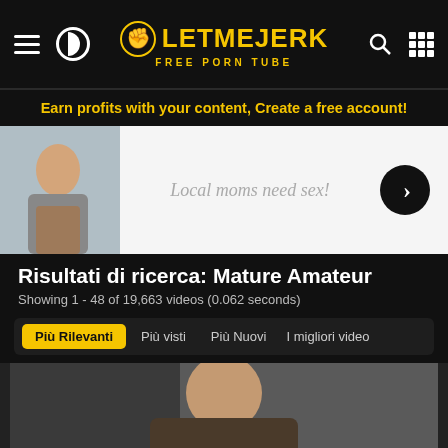LetMeJerk - Free Porn Tube
Earn profits with your content, Create a free account!
[Figure (photo): Advertisement banner showing a young woman on the left side and text 'Local moms need sex!' with a dark arrow button on the right side]
Risultati di ricerca: Mature Amateur
Showing 1 - 48 of 19,663 videos (0.062 seconds)
Più Rilevanti | Più visti | Più Nuovi | I migliori video
[Figure (photo): Video thumbnail showing a plus-size woman outdoors]